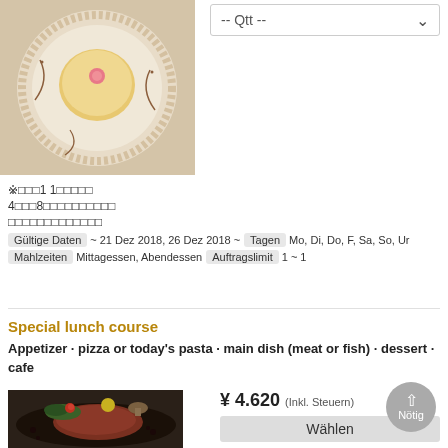[Figure (photo): A dessert on a decorative plate, appears to be a tart or small cake with pink decoration, viewed from above on a white plate with artistic sauce designs]
[Figure (screenshot): Quantity dropdown selector showing '-- Qtt --' with a down arrow chevron]
※　11
4　8
Gültige Daten ~ 21 Dez 2018, 26 Dez 2018 ~ Tagen Mo, Di, Do, F, Sa, So, Ur
Mahlzeiten Mittagessen, Abendessen Auftragslimit 1 ~ 1
Special lunch course
Appetizer · pizza or today's pasta · main dish (meat or fish) · dessert · cafe
[Figure (photo): A meat dish (appears to be steak or beef) on a dark plate with vegetables and garnish]
¥ 4.620 (Inkl. Steuern)
Wählen